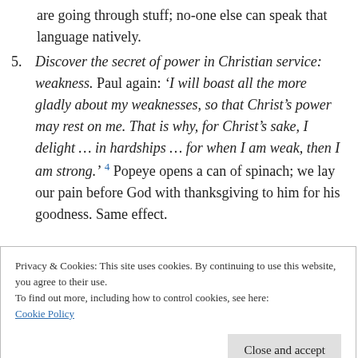are going through stuff; no-one else can speak that language natively.
5. Discover the secret of power in Christian service: weakness. Paul again: ‘I will boast all the more gladly about my weaknesses, so that Christ’s power may rest on me. That is why, for Christ’s sake, I delight … in hardships … for when I am weak, then I am strong.’ 4 Popeye opens a can of spinach; we lay our pain before God with thanksgiving to him for his goodness. Same effect.
Privacy & Cookies: This site uses cookies. By continuing to use this website, you agree to their use.
To find out more, including how to control cookies, see here:
Cookie Policy
Close and accept
... ... fail. The ...